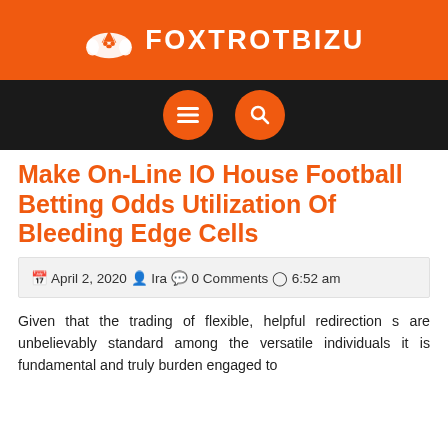FOXTROTBIZU
[Figure (logo): Foxtrotbizu website header with orange background, fox icon and bold white text FOXTROTBIZU]
Make On-Line IO House Football Betting Odds Utilization Of Bleeding Edge Cells
April 2, 2020  Ira  0 Comments  6:52 am
Given that the trading of flexible, helpful redirection s are unbelievably standard among the versatile individuals it is fundamental and truly burden engaged to